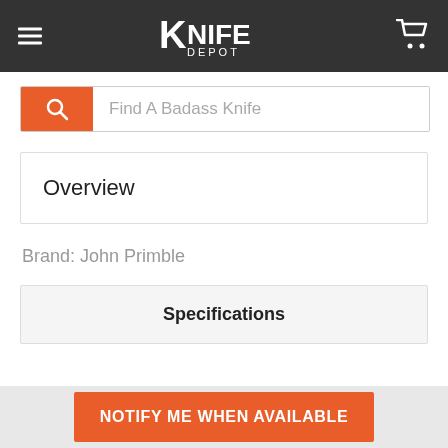Knife Depot
Find A Badass Knife
Overview
Brand: John Primble
Specifications
NOTIFY ME WHEN AVAILABLE